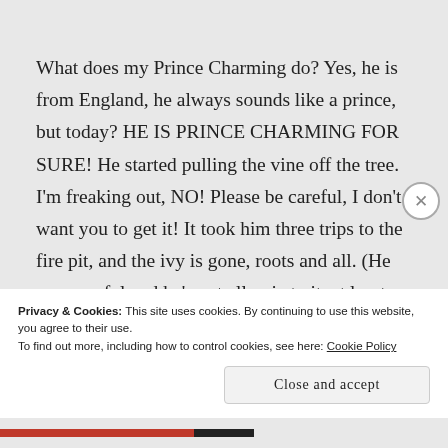What does my Prince Charming do? Yes, he is from England, he always sounds like a prince, but today? HE IS PRINCE CHARMING FOR SURE! He started pulling the vine off the tree. I'm freaking out, NO! Please be careful, I don't want you to get it! It took him three trips to the fire pit, and the ivy is gone, roots and all. (He was careful and he's not allergic to it, at least for the first 67 years of his life. I hope that holds true at 68.)
Privacy & Cookies: This site uses cookies. By continuing to use this website, you agree to their use.
To find out more, including how to control cookies, see here: Cookie Policy
Close and accept